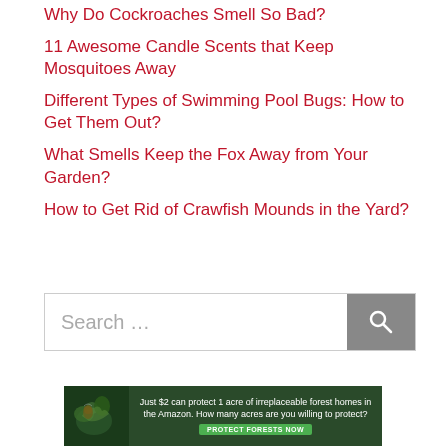Why Do Cockroaches Smell So Bad?
11 Awesome Candle Scents that Keep Mosquitoes Away
Different Types of Swimming Pool Bugs: How to Get Them Out?
What Smells Keep the Fox Away from Your Garden?
How to Get Rid of Crawfish Mounds in the Yard?
[Figure (other): Search bar with text input field showing placeholder 'Search ...' and a grey search button with magnifying glass icon]
[Figure (infographic): Advertisement banner with dark green forest background, bird image on left, text reading 'Just $2 can protect 1 acre of irreplaceable forest homes in the Amazon. How many acres are you willing to protect?' with a green 'PROTECT FORESTS NOW' button]